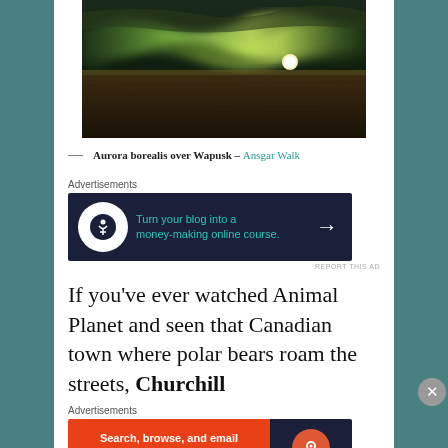[Figure (photo): Aurora borealis (northern lights) over a flat tundra landscape with a bright moon or sun visible on the horizon, dark sky with green/yellow aurora curtains]
— Aurora borealis over Wapusk – Ansgar Walk
[Figure (other): Advertisement banner: dark navy background with white circle icon (tree/person symbol), teal text reading 'Turn your blog into a money-making online course.' with a white arrow]
If you've ever watched Animal Planet and seen that Canadian town where polar bears roam the streets, Churchill
[Figure (other): Advertisement banner: orange section with white bold text 'Search, browse, and email with more privacy. All in One Free App' button, and dark navy section with DuckDuckGo logo and text]